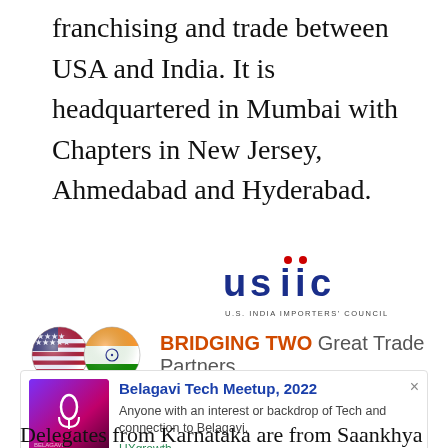franchising and trade between USA and India. It is headquartered in Mumbai with Chapters in New Jersey, Ahmedabad and Hyderabad.
[Figure (logo): USIIC - U.S. India Importers' Council logo with blue and red stylized text]
[Figure (infographic): Two globe-shaped flags (USA and India) with text: BRIDGING TWO Great Trade Partners]
[Figure (screenshot): Notification card: Belagavi Tech Meetup, 2022 - Anyone with an interest or backdrop of Tech and connection to Belagavi, UXgrowth]
Delegates from Karnataka are from Saankhya labs